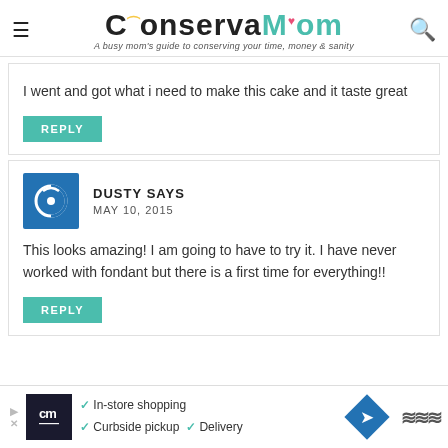ConservaMom - A busy mom's guide to conserving your time, money & sanity
I went and got what i need to make this cake and it taste great
REPLY
DUSTY SAYS
MAY 10, 2015
This looks amazing! I am going to have to try it. I have never worked with fondant but there is a first time for everything!!
REPLY
[Figure (screenshot): Advertisement bar: CM logo, In-store shopping, Curbside pickup, Delivery options with navigation and wave icons]